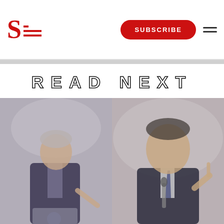S [logo with lines] | SUBSCRIBE | [hamburger menu]
READ NEXT
[Figure (photo): Two side-by-side photos: left shows a man in a dark suit at a podium gesturing with one finger; right shows another man in a dark suit speaking into a microphone and also gesturing with one finger. Both images appear muted/grayscale-tinted.]